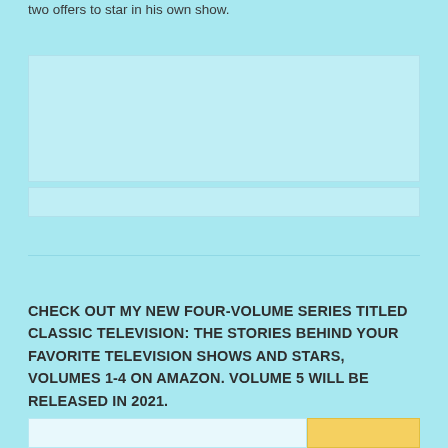two offers to star in his own show.
[Figure (other): Image placeholder area with light blue/cyan background boxes]
CHECK OUT MY NEW FOUR-VOLUME SERIES TITLED CLASSIC TELEVISION: THE STORIES BEHIND YOUR FAVORITE TELEVISION SHOWS AND STARS, VOLUMES 1-4 ON AMAZON. VOLUME 5 WILL BE RELEASED IN 2021.
[Figure (other): Bottom bar with white/light section on left and yellow section on right]